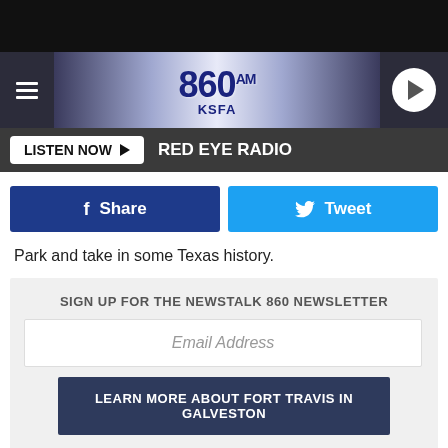[Figure (screenshot): 860 AM KSFA radio station website header with logo, hamburger menu, and play button]
LISTEN NOW ▶  RED EYE RADIO
f Share   Tweet
Park and take in some Texas history.
SIGN UP FOR THE NEWSTALK 860 NEWSLETTER
Email Address
LEARN MORE ABOUT FORT TRAVIS IN GALVESTON
FORT TRAVIS SEASHORE PARK